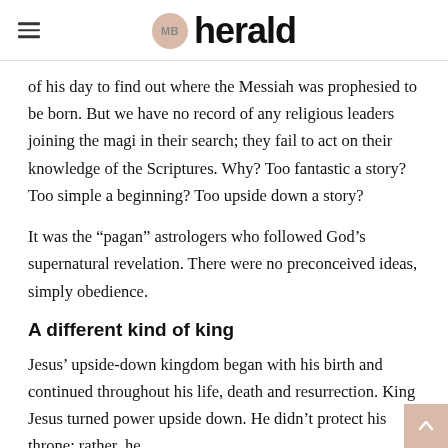MB herald
of his day to find out where the Messiah was prophesied to be born. But we have no record of any religious leaders joining the magi in their search; they fail to act on their knowledge of the Scriptures. Why? Too fantastic a story? Too simple a beginning? Too upside down a story?
It was the “pagan” astrologers who followed God’s supernatural revelation. There were no preconceived ideas, simply obedience.
A different kind of king
Jesus’ upside-down kingdom began with his birth and continued throughout his life, death and resurrection. King Jesus turned power upside down. He didn’t protect his throne; rather, he